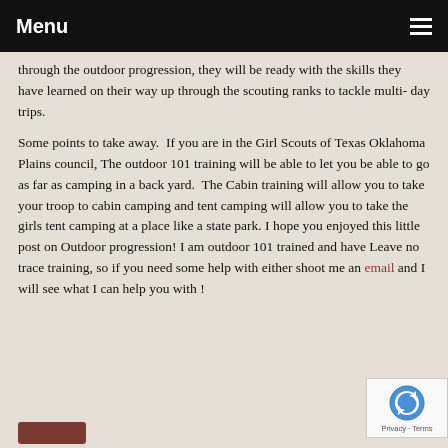Menu
through the outdoor progression, they will be ready with the skills they have learned on their way up through the scouting ranks to tackle multi- day trips.
Some points to take away. If you are in the Girl Scouts of Texas Oklahoma Plains council, The outdoor 101 training will be able to let you be able to go as far as camping in a back yard. The Cabin training will allow you to take your troop to cabin camping and tent camping will allow you to take the girls tent camping at a place like a state park. I hope you enjoyed this little post on Outdoor progression! I am outdoor 101 trained and have Leave no trace training, so if you need some help with either shoot me an email and I will see what I can help you with !